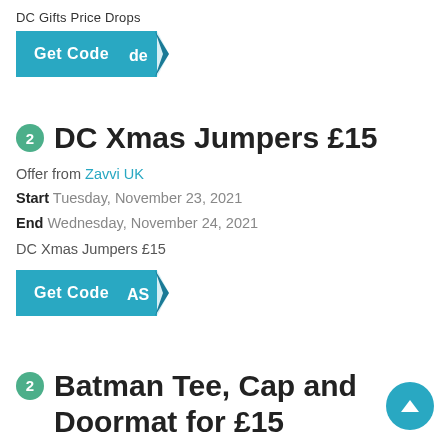DC Gifts Price Drops
[Figure (other): Get Code button with teal background and a folded ribbon showing 'de']
2 DC Xmas Jumpers £15
Offer from Zavvi UK
Start Tuesday, November 23, 2021
End Wednesday, November 24, 2021
DC Xmas Jumpers £15
[Figure (other): Get Code button with teal background and a folded ribbon showing 'AS']
2 Batman Tee, Cap and Doormat for £15
Offer from Zavvi UK
Start Tuesday, November 23, 2021
End Wednesday, November 24, 2021